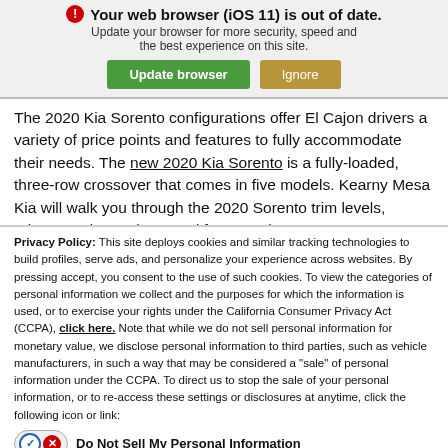[Figure (screenshot): Browser update warning banner with icon, message 'Your web browser (iOS 11) is out of date. Update your browser for more security, speed and the best experience on this site.' with Update browser and Ignore buttons]
The 2020 Kia Sorento configurations offer El Cajon drivers a variety of price points and features to fully accommodate their needs. The new 2020 Kia Sorento is a fully-loaded, three-row crossover that comes in five models. Kearny Mesa Kia will walk you through the 2020 Sorento trim levels, prices, engine options, and features that
Privacy Policy: This site deploys cookies and similar tracking technologies to build profiles, serve ads, and personalize your experience across websites. By pressing accept, you consent to the use of such cookies. To view the categories of personal information we collect and the purposes for which the information is used, or to exercise your rights under the California Consumer Privacy Act (CCPA), click here. Note that while we do not sell personal information for monetary value, we disclose personal information to third parties, such as vehicle manufacturers, in such a way that may be considered a "sale" of personal information under the CCPA. To direct us to stop the sale of your personal information, or to re-access these settings or disclosures at anytime, click the following icon or link:
Do Not Sell My Personal Information
Language:  English
Powered by ComplyAuto
Accept and Continue →
California Privacy Disclosures